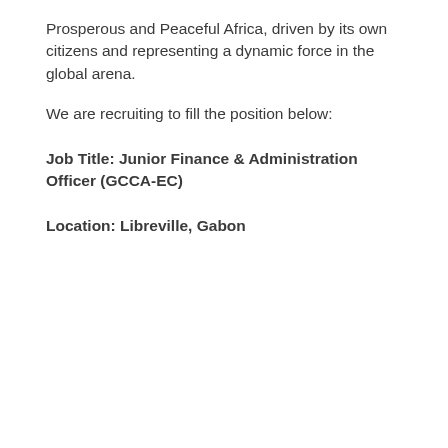Prosperous and Peaceful Africa, driven by its own citizens and representing a dynamic force in the global arena.
We are recruiting to fill the position below:
Job Title: Junior Finance & Administration Officer (GCCA-EC)
Location: Libreville, Gabon